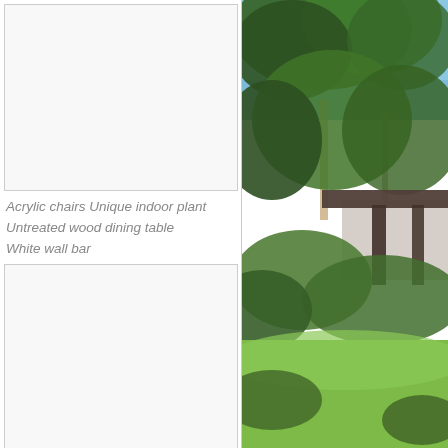[Figure (other): Empty white image placeholder box (top left)]
Acrylic chairs Unique indoor plant
Untreated wood dining table
White wall bar
[Figure (other): Empty white image placeholder box (middle left)]
antique brass bathroom accessories sets 2
[Figure (other): Empty white image placeholder box (bottom left)]
[Figure (photo): Outdoor photo showing a modern house with a flat roof overhang, surrounded by lush green trees and lawn, bright daylight]